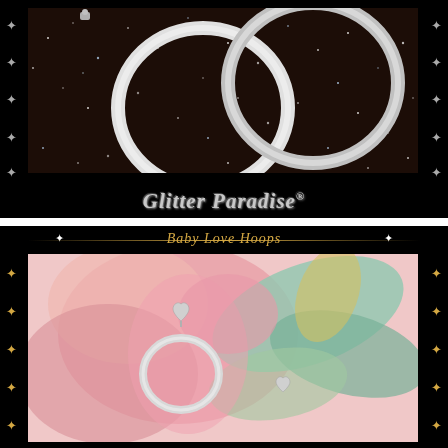[Figure (photo): Close-up photo of silver hoop earrings on a dark brown glittery background. Two overlapping silver hoops are visible, with glitter sparkles throughout the dark background.]
Glitter Paradise®
Baby Love Hoops
[Figure (photo): Photo of silver hoop earrings with heart charms against a colorful floral fabric background in pink, teal, and yellow. Two small silver hearts are attached to silver hoop rings.]